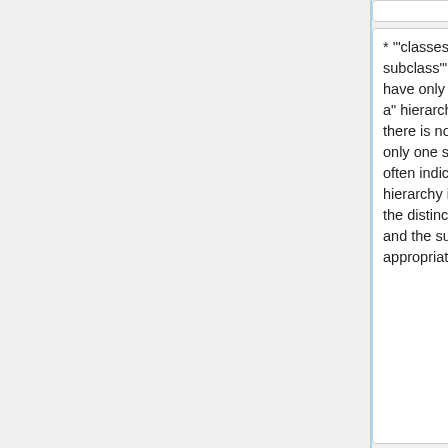* '"classes with only one subclass"': a list of classes that have only one subclass in the "is-a" hierarchy. While technically there is no problem in having only one subclass, this situation often indicates that either the hierarchy is under-specified, or the distinction between the class and the subclass is not appropriate.
* '"classes with only one subclass"': a list of classes that have only one subclass in the "is-a" hierarchy. While technically there is no problem in having only one subclass, this situation often indicates that either the hierarchy is under-specified, or the distinction between the class and the subclass is not appropriate.